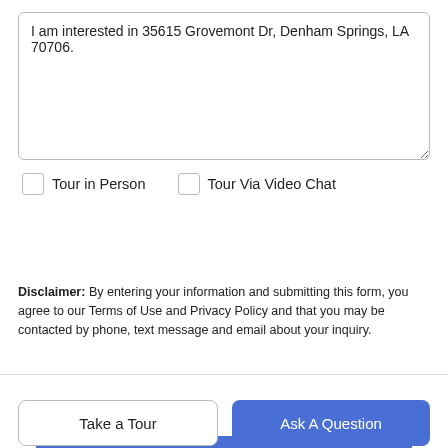I am interested in 35615 Grovemont Dr, Denham Springs, LA 70706.
Tour in Person    Tour Via Video Chat
Submit
Disclaimer: By entering your information and submitting this form, you agree to our Terms of Use and Privacy Policy and that you may be contacted by phone, text message and email about your inquiry.
Take a Tour
Ask A Question